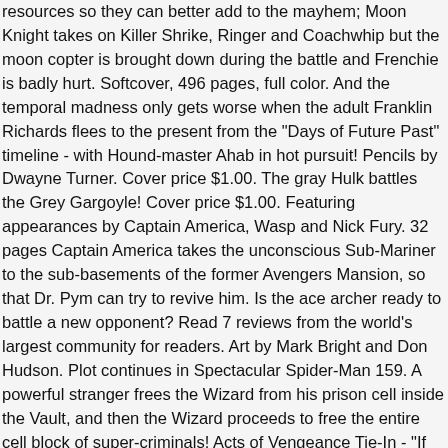resources so they can better add to the mayhem; Moon Knight takes on Killer Shrike, Ringer and Coachwhip but the moon copter is brought down during the battle and Frenchie is badly hurt. Softcover, 496 pages, full color. And the temporal madness only gets worse when the adult Franklin Richards flees to the present from the "Days of Future Past" timeline - with Hound-master Ahab in hot pursuit! Pencils by Dwayne Turner. Cover price $1.00. The gray Hulk battles the Grey Gargoyle! Cover price $1.00. Featuring appearances by Captain America, Wasp and Nick Fury. 32 pages Captain America takes the unconscious Sub-Mariner to the sub-basements of the former Avengers Mansion, so that Dr. Pym can try to revive him. Is the ace archer ready to battle a new opponent? Read 7 reviews from the world's largest community for readers. Art by Mark Bright and Don Hudson. Plot continues in Spectacular Spider-Man 159. A powerful stranger frees the Wizard from his prison cell inside the Vault, and then the Wizard proceeds to free the entire cell block of super-criminals! Acts of Vengeance Tie-In - "If You Picket It'll Never Heal!" 36 pgs. 25 Final Showdown Part 1: The heroes are fighting with the alliance of criminals. Story by Walter Simonson. It's a surreal meeting between the two long-time adversaries. This inner circle consists of Doctor Doom, Magneto, the Kingpin, Wizard, Red Skull, the Mandarin, and a mysterious benefactor. Cover price $1.00. The Enchantress is on a vindictive hunt for Baron von Zemo and he